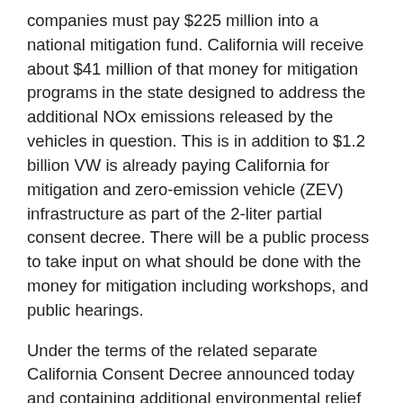companies must pay $225 million into a national mitigation fund. California will receive about $41 million of that money for mitigation programs in the state designed to address the additional NOx emissions released by the vehicles in question. This is in addition to $1.2 billion VW is already paying California for mitigation and zero-emission vehicle (ZEV) infrastructure as part of the 2-liter partial consent decree. There will be a public process to take input on what should be done with the money for mitigation including workshops, and public hearings.
Under the terms of the related separate California Consent Decree announced today and containing additional environmental relief for California, the companies also will be required to add a second “Green City” in California in addition to the one required under the ZEV Commitment in the previous Partial Consent Decree involving 2-liter diesel vehicles. The